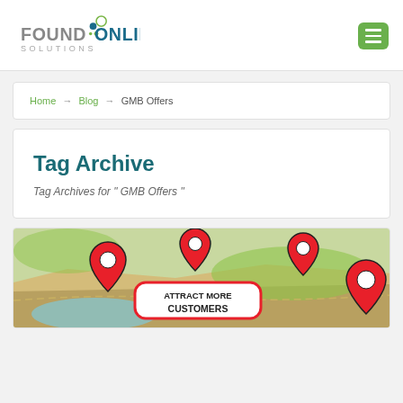[Figure (logo): Found Online Solutions logo with colored circles and company name]
Home → Blog → GMB Offers
Tag Archive
Tag Archives for " GMB Offers "
[Figure (illustration): Map illustration with red location pins and text ATTRACT MORE CUSTOMERS]